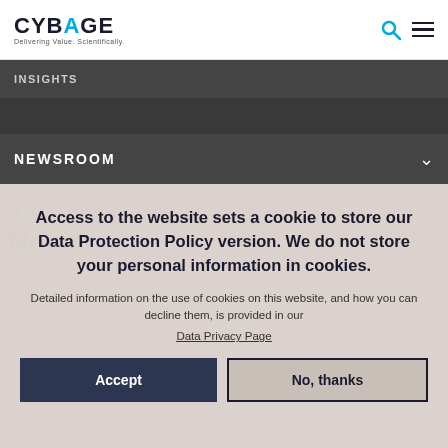CYBAGE Delivering Value. Scientifically.
INSIGHTS
NEWSROOM
Access to the website sets a cookie to store our Data Protection Policy version. We do not store your personal information in cookies.
Detailed information on the use of cookies on this website, and how you can decline them, is provided in our Data Privacy Page
Accept
No, thanks